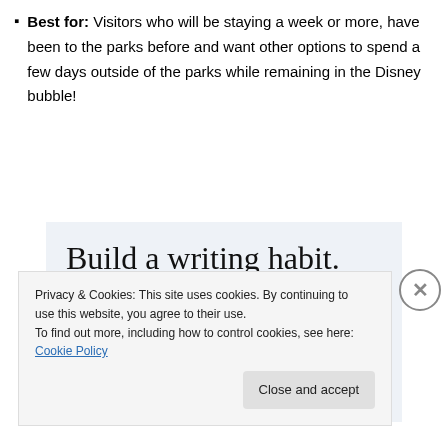Best for: Visitors who will be staying a week or more, have been to the parks before and want other options to spend a few days outside of the parks while remaining in the Disney bubble!
[Figure (other): WordPress app advertisement with light blue background. Large serif text reads 'Build a writing habit. Post on the go.' Below is a 'GET THE APP' call-to-action link and a WordPress circular logo icon.]
Privacy & Cookies: This site uses cookies. By continuing to use this website, you agree to their use.
To find out more, including how to control cookies, see here: Cookie Policy